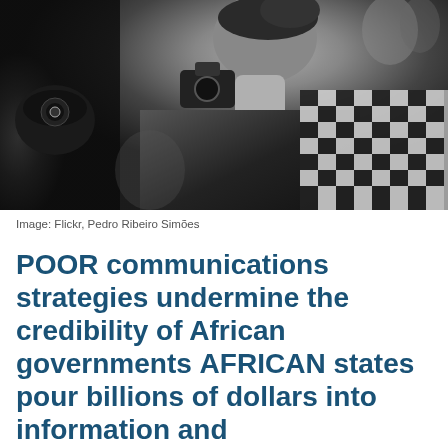[Figure (photo): Black and white photograph of a woman in profile holding a camera, with a baby in a checkered carrier on her back, surrounded by other photographers and people in a crowd.]
Image: Flickr, Pedro Ribeiro Simões
POOR communications strategies undermine the credibility of African governments AFRICAN states pour billions of dollars into information and communications technology on the assumption that being fit for